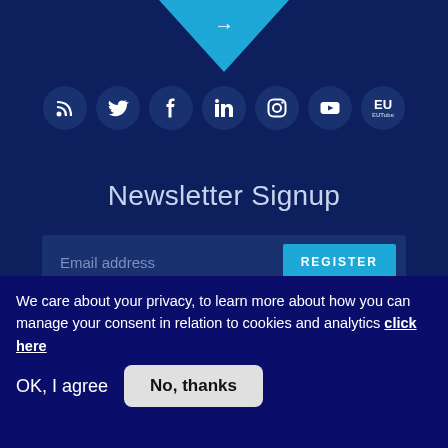[Figure (infographic): Social media icons row: RSS feed, Twitter, Facebook, LinkedIn, Instagram, YouTube, EU Tube — white icons on dark navy circular backgrounds]
Newsletter Signup
Email address
REGISTER
We care about your privacy, to learn more about how you can manage your consent in relation to cookies and analytics click here
OK, I agree
No, thanks